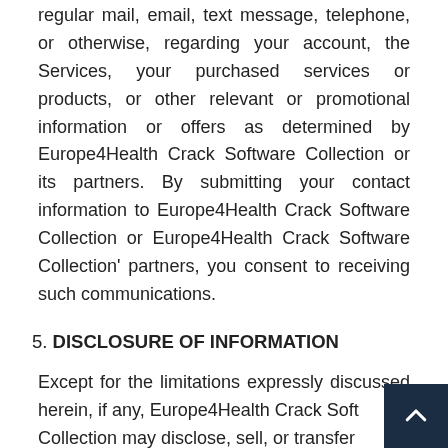regular mail, email, text message, telephone, or otherwise, regarding your account, the Services, your purchased services or products, or other relevant or promotional information or offers as determined by Europe4Health Crack Software Collection or its partners. By submitting your contact information to Europe4Health Crack Software Collection or Europe4Health Crack Software Collection' partners, you consent to receiving such communications.
5. DISCLOSURE OF INFORMATION
Except for the limitations expressly discussed herein, if any, Europe4Health Crack Software Collection may disclose, sell, or transfer collected information to third-parties for any